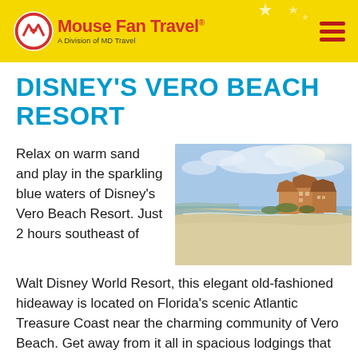Mouse Fan Travel — A Division of MD Travel
DISNEY'S VERO BEACH RESORT
Relax on warm sand and play in the sparkling blue waters of Disney's Vero Beach Resort. Just 2 hours southeast of Walt Disney World Resort, this elegant old-fashioned hideaway is located on Florida's scenic Atlantic Treasure Coast near the charming community of Vero Beach. Get away from it all in spacious lodgings that provide the comforts of home with an idyllic beach practically at your
[Figure (photo): Beachfront view of Disney's Vero Beach Resort showing white sand beach, blue sky with clouds, and resort buildings with brown roofs along the shoreline]